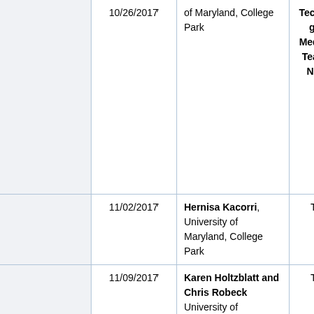|  | Date | Presenter | TBD | Expand |
| --- | --- | --- | --- | --- |
|  | 10/26/2017 | of Maryland, College Park | Technologically Mediated Teacher Notici... |  |
|  | 11/02/2017 | Hernisa Kacorri, University of Maryland, College Park | TBD | [Expa... |
|  | 11/09/2017 | Karen Holtzblatt and Chris Robeck University of Maryland, | TBD | [Expa... |